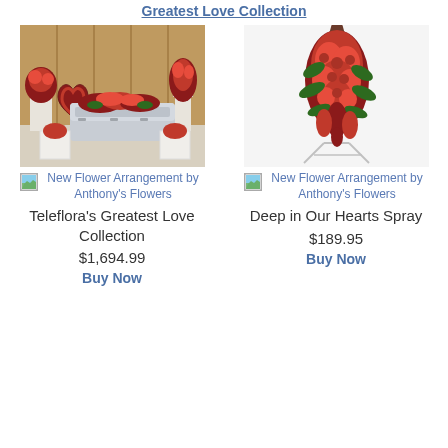Greatest Love Collection
[Figure (photo): Funeral arrangement with a silver casket covered in red roses, heart-shaped wreath, and floral pedestals in a wood-paneled room]
[Figure (photo): Deep red floral spray arrangement on a metal easel stand]
New Flower Arrangement by Anthony's Flowers
Teleflora's Greatest Love Collection
$1,694.99
Buy Now
New Flower Arrangement by Anthony's Flowers
Deep in Our Hearts Spray
$189.95
Buy Now